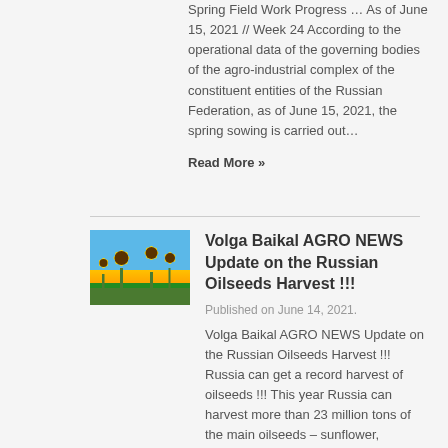Spring Field Work Progress … As of June 15, 2021 // Week 24 According to the operational data of the governing bodies of the agro-industrial complex of the constituent entities of the Russian Federation, as of June 15, 2021, the spring sowing is carried out…
Read More »
[Figure (photo): Photo of sunflowers against a blue sky]
Volga Baikal AGRO NEWS Update on the Russian Oilseeds Harvest !!!
Published on June 14, 2021.
Volga Baikal AGRO NEWS Update on the Russian Oilseeds Harvest !!! Russia can get a record harvest of oilseeds !!! This year Russia can harvest more than 23 million tons of the main oilseeds – sunflower,